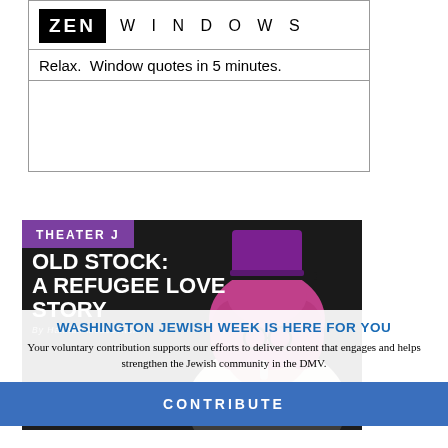[Figure (advertisement): Zen Windows advertisement with black logo box showing 'ZEN' in white text, followed by 'WINDOWS' in spaced letters. Tagline: 'Relax. Window quotes in 5 minutes.' with a blank area below, all in a bordered box.]
[Figure (advertisement): Theater J advertisement for 'Old Stock: A Refugee Love Story by Hannah Moscovitch' with purple banner, white title text on dark background, and a man with pink curly hair wearing a purple top hat. Bottom strip shows 'A Miy Kish Kleener Musical' and 'GET TICKETS' button.]
WASHINGTON JEWISH WEEK IS HERE FOR YOU
Your voluntary contribution supports our efforts to deliver content that engages and helps strengthen the Jewish community in the DMV.
CONTRIBUTE